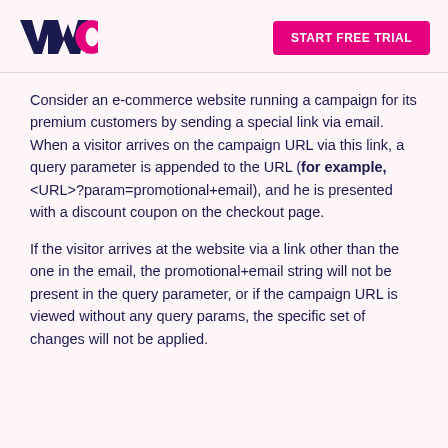[Figure (logo): VWO logo — stylized letters V, W, O with the W in dark navy and O in magenta/pink]
START FREE TRIAL
Consider an e-commerce website running a campaign for its premium customers by sending a special link via email. When a visitor arrives on the campaign URL via this link, a query parameter is appended to the URL (for example, <URL>?param=promotional+email), and he is presented with a discount coupon on the checkout page.
If the visitor arrives at the website via a link other than the one in the email, the promotional+email string will not be present in the query parameter, or if the campaign URL is viewed without any query params, the specific set of changes will not be applied.